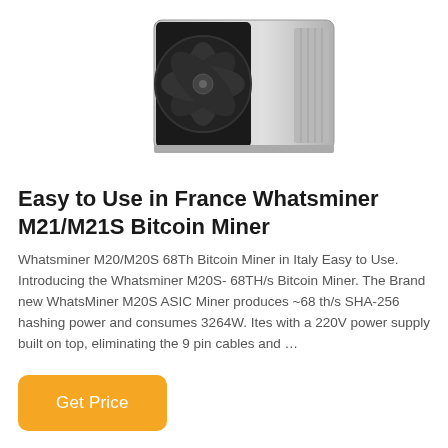[Figure (photo): Photo of a Whatsminer M21/M21S Bitcoin mining hardware device, showing the front with a large fan visible and a silver rectangular body]
Easy to Use in France Whatsminer M21/M21S Bitcoin Miner
Whatsminer M20/M20S 68Th Bitcoin Miner in Italy Easy to Use. Introducing the Whatsminer M20S- 68TH/s Bitcoin Miner. The Brand new WhatsMiner M20S ASIC Miner produces ~68 th/s SHA-256 hashing power and consumes 3264W. Ites with a 220V power supply built on top, eliminating the 9 pin cables and …
Get Price